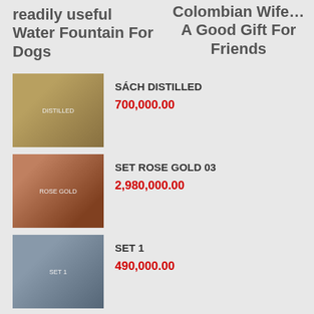readily useful Water Fountain For Dogs
Colombian Wife…A Good Gift For Friends
SÁCH DISTILLED
700,000.00
SET ROSE GOLD 03
2,980,000.00
SET 1
490,000.00
SÁCH THE COMPLETE COCKTAIL MANNAL 285 TIPS,TRICLOS,RECIPES
1,480,000.00